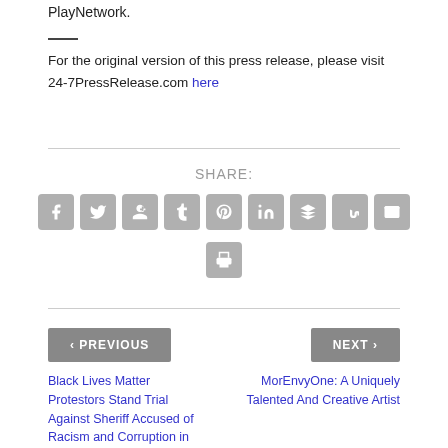PlayNetwork.
For the original version of this press release, please visit 24-7PressRelease.com here
SHARE:
[Figure (infographic): Social media share buttons: Facebook, Twitter, Google+, Tumblr, Pinterest, LinkedIn, Buffer, StumbleUpon, Email, Print]
< PREVIOUS
NEXT >
Black Lives Matter Protestors Stand Trial Against Sheriff Accused of Racism and Corruption in
MorEnvyOne: A Uniquely Talented And Creative Artist